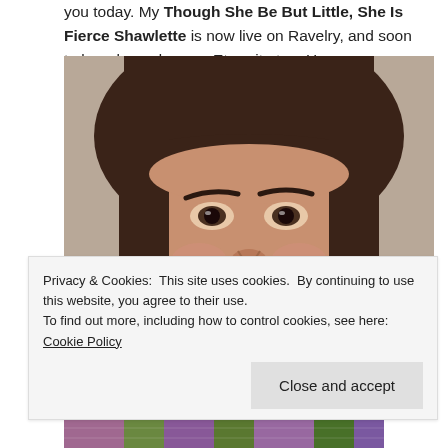you today. My Though She Be But Little, She Is Fierce Shawlette is now live on Ravelry, and soon to be released on my Etsy site too. Here are a couple more photos:
[Figure (photo): Close-up photo of a woman with dark brown bangs and straight hair, looking directly at the camera with a neutral expression. Photo is cropped at mid-face level.]
[Figure (photo): Partial view of a colorful knitted shawlette at the bottom of the page, showing purple, green, and other colors.]
Privacy & Cookies: This site uses cookies. By continuing to use this website, you agree to their use.
To find out more, including how to control cookies, see here: Cookie Policy
Close and accept